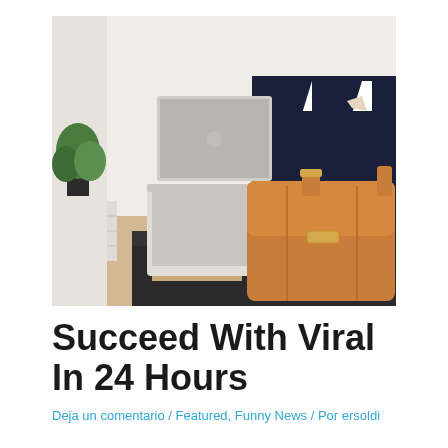[Figure (photo): A person in a dark suit sitting, working on a MacBook laptop with a tan/brown leather messenger bag beside them. A plant is visible in the background in a bright, modern room.]
Succeed With Viral In 24 Hours
Deja un comentario / Featured, Funny News / Por ersoldi